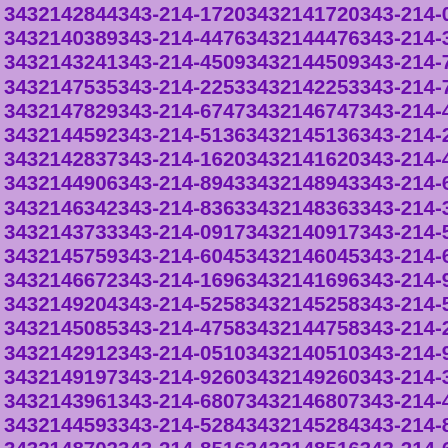3432142844 343-214-1720 3432141720 343-214-0389 3432140389 343-214-4476 3432144476 343-214-3241 3432143241 343-214-4509 3432144509 343-214-7535 3432147535 343-214-2253 3432142253 343-214-7829 3432147829 343-214-6747 3432146747 343-214-4592 3432144592 343-214-5136 3432145136 343-214-2837 3432142837 343-214-1620 3432141620 343-214-4906 3432144906 343-214-8943 3432148943 343-214-6342 3432146342 343-214-8363 3432148363 343-214-3733 3432143733 343-214-0917 3432140917 343-214-5759 3432145759 343-214-6045 3432146045 343-214-6672 3432146672 343-214-1696 3432141696 343-214-9204 3432149204 343-214-5258 3432145258 343-214-5085 3432145085 343-214-4758 3432144758 343-214-2912 3432142912 343-214-0510 3432140510 343-214-9197 3432149197 343-214-9260 3432149260 343-214-3961 3432143961 343-214-6807 3432146807 343-214-4593 3432144593 343-214-5284 3432145284 343-214-8702 3432148702 343-214-8516 3432148516 343-214-6324 3432146324 343-214-4797 3432144797 343-214-9215 3432149215 343-214-5113 3432145113 343-214-0911